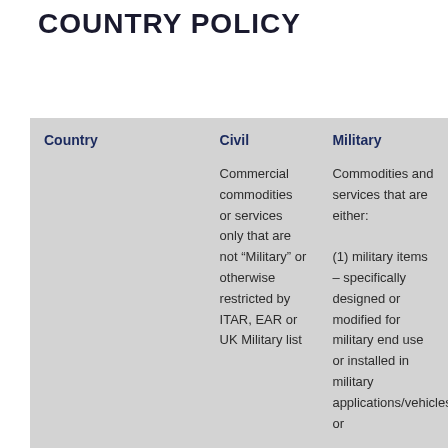COUNTRY POLICY
| Country | Civil | Military |
| --- | --- | --- |
|  | Commercial commodities or services only that are not “Military” or otherwise restricted by ITAR, EAR or UK Military list | Commodities and services that are either:
(1) military items – specifically designed or modified for military end use or installed in military applications/vehicles; or |